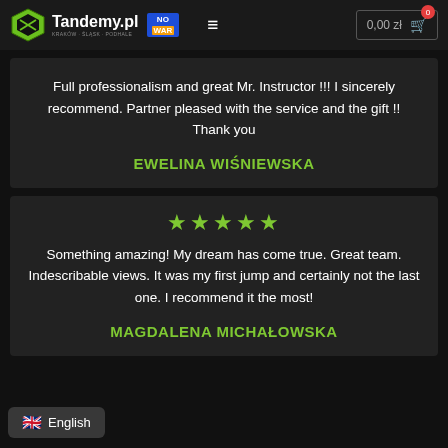Tandemy.pl | NO WAR | 0,00 zł
Full professionalism and great Mr. Instructor !!! I sincerely recommend. Partner pleased with the service and the gift !! Thank you
EWELINA WIŚNIEWSKA
[Figure (other): Five green star rating icons]
Something amazing! My dream has come true. Great team. Indescribable views. It was my first jump and certainly not the last one. I recommend it the most!
MAGDALENA MICHAŁOWSKA
English